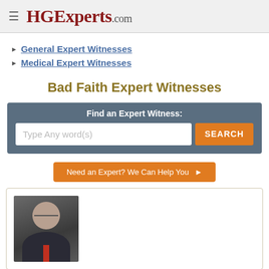HGExperts.com
General Expert Witnesses
Medical Expert Witnesses
Bad Faith Expert Witnesses
Find an Expert Witness:
Type Any word(s)
SEARCH
Need an Expert? We Can Help You ▶
[Figure (photo): Headshot of an older bald man wearing glasses, a dark suit jacket, and a red tie, photographed against a grey background.]